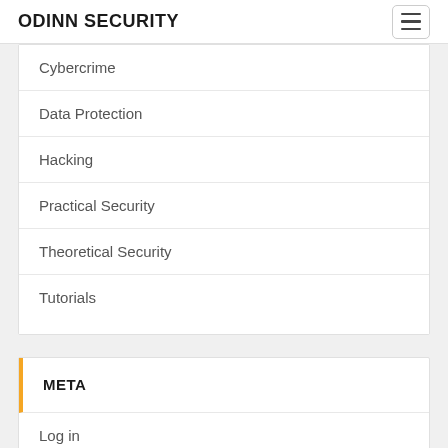ODINN SECURITY
Cybercrime
Data Protection
Hacking
Practical Security
Theoretical Security
Tutorials
META
Log in